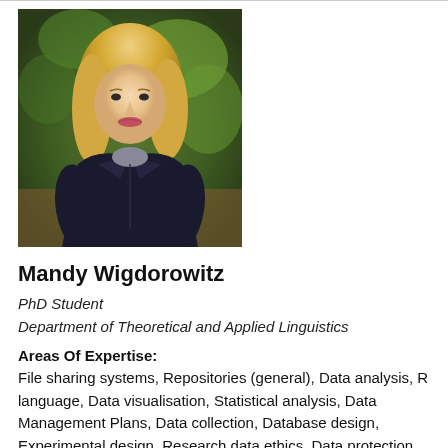[Figure (photo): Portrait photo of a blonde woman in a dark leather jacket, standing outdoors in front of green foliage]
Mandy Wigdorowitz
PhD Student
Department of Theoretical and Applied Linguistics
Areas Of Expertise:
File sharing systems, Repositories (general), Data analysis, R language, Data visualisation, Statistical analysis, Data Management Plans, Data collection, Database design, Experimental design, Research data ethics, Data protection and research, Data storage